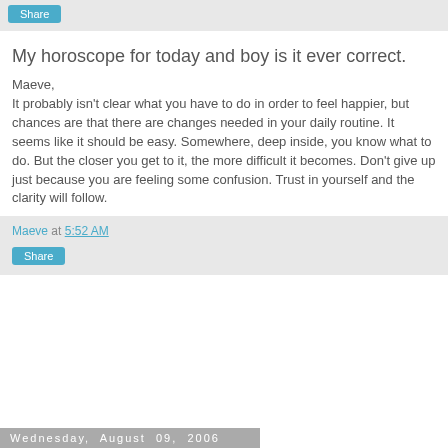Share
My horoscope for today and boy is it ever correct.
Maeve,
It probably isn't clear what you have to do in order to feel happier, but chances are that there are changes needed in your daily routine. It seems like it should be easy. Somewhere, deep inside, you know what to do. But the closer you get to it, the more difficult it becomes. Don't give up just because you are feeling some confusion. Trust in yourself and the clarity will follow.
Maeve at 5:52 AM
Share
Wednesday, August 09, 2006